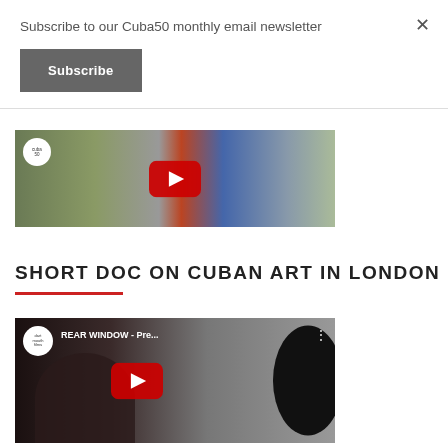Subscribe to our Cuba50 monthly email newsletter
Subscribe
[Figure (screenshot): YouTube video thumbnail showing a person in a red and blue outfit against a cityscape background, with a YouTube play button overlay]
SHORT DOC ON CUBAN ART IN LONDON
[Figure (screenshot): YouTube video thumbnail for 'REAR WINDOW - Pre...' by dartmouth films, showing a person's face and a dark sculptural shape, with a YouTube play button overlay]